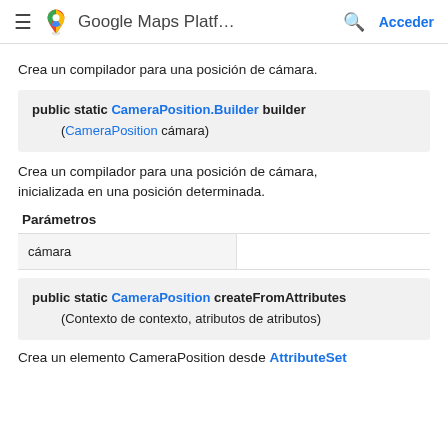Google Maps Platf... Acceder
Crea un compilador para una posición de cámara.
public static CameraPosition.Builder builder (CameraPosition cámara)
Crea un compilador para una posición de cámara, inicializada en una posición determinada.
Parámetros
| cámara |  |
| --- | --- |
| cámara |  |
public static CameraPosition createFromAttributes (Contexto de contexto, atributos de atributos)
Crea un elemento CameraPosition desde AttributeSet